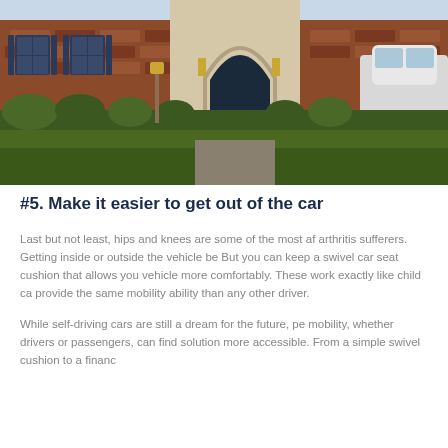[Figure (photo): Exterior photo of a brick and stone house with dark shutters, an arched doorway, manicured lawn and hedges, and a white SUV partially visible on the right side.]
#5. Make it easier to get out of the car
Last but not least, hips and knees are some of the most af arthritis sufferers. Getting inside or outside the vehicle be But you can keep a swivel car seat cushion that allows you vehicle more comfortably. These work exactly like child ca provide the same mobility ability than any other driver.
While self-driving cars are still a dream for the future, pe mobility, whether drivers or passengers, can find solution more accessible. From a simple swivel cushion to a financ